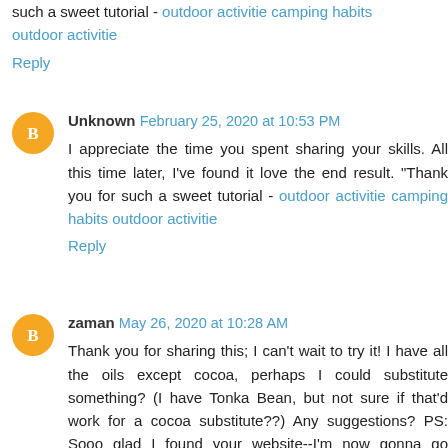such a sweet tutorial - outdoor activitie camping habits outdoor activitie
Reply
Unknown February 25, 2020 at 10:53 PM
I appreciate the time you spent sharing your skills. All this time later, I've found it love the end result. "Thank you for such a sweet tutorial - outdoor activitie camping habits outdoor activitie
Reply
zaman May 26, 2020 at 10:28 AM
Thank you for sharing this; I can't wait to try it! I have all the oils except cocoa, perhaps I could substitute something? (I have Tonka Bean, but not sure if that'd work for a cocoa substitute??) Any suggestions? PS: Sooo glad I found your website--I'm now gonna go browse around the rest of it I enjoyed over read your blog post. Your blog have nice information over read your blog post.